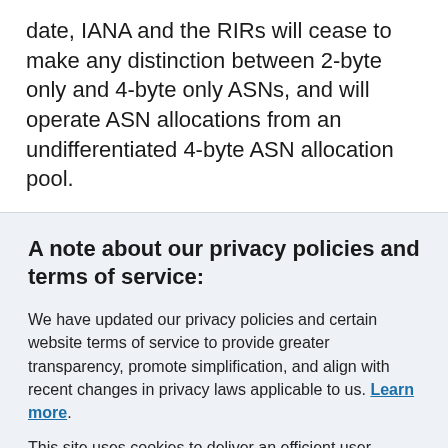date, IANA and the RIRs will cease to make any distinction between 2-byte only and 4-byte only ASNs, and will operate ASN allocations from an undifferentiated 4-byte ASN allocation pool.
A note about our privacy policies and terms of service:
We have updated our privacy policies and certain website terms of service to provide greater transparency, promote simplification, and align with recent changes in privacy laws applicable to us. Learn more.
This site uses cookies to deliver an efficient user experience and to help us see how the site is used. Learn more. OK